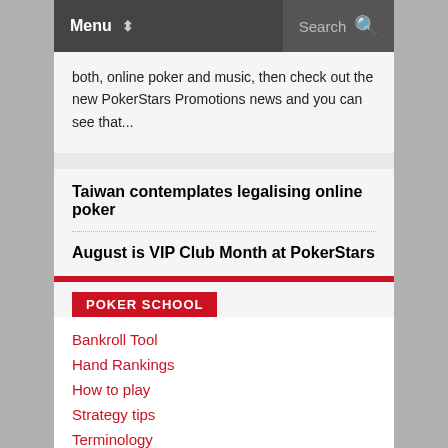Menu   Search
both, online poker and music, then check out the new PokerStars Promotions news and you can see that...
Taiwan contemplates legalising online poker
August is VIP Club Month at PokerStars
POKER SCHOOL
Bankroll Tool
Hand Rankings
How to play
Strategy tips
Terminology
Copyright ©
About   Contact us